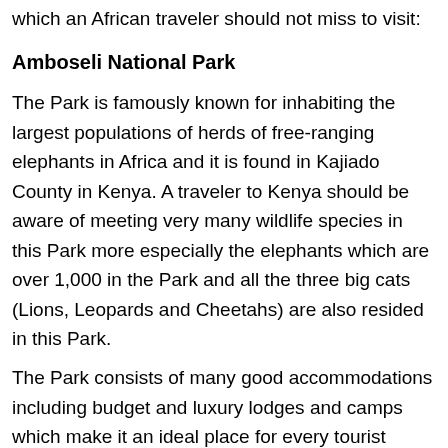which an African traveler should not miss to visit:
Amboseli National Park
The Park is famously known for inhabiting the largest populations of herds of free-ranging elephants in Africa and it is found in Kajiado County in Kenya. A traveler to Kenya should be aware of meeting very many wildlife species in this Park more especially the elephants which are over 1,000 in the Park and all the three big cats (Lions, Leopards and Cheetahs) are also resided in this Park.
The Park consists of many good accommodations including budget and luxury lodges and camps which make it an ideal place for every tourist including those of luxury. Some of the Park's accommodations include Amboseli Serena Safari lodge, Campi ya Kanzi, Tortilis Safari camp, Sentrim Amboseli Safari lodge, Amboseli Sopa lodge, Ol Tukai safari lodge, Kibo safari